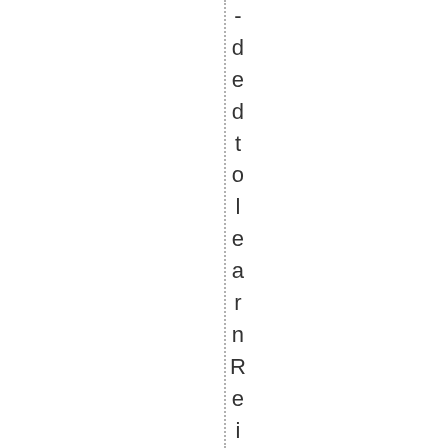-dedtolearnReiki ,ihadnoplanson